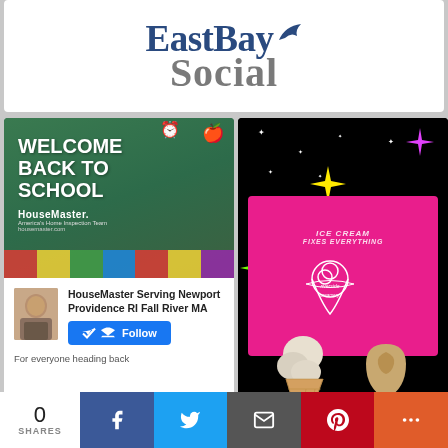[Figure (logo): EastBay Social logo with bird silhouette — 'EastBay' in dark navy serif and a bird icon, 'Social' in gray serif below]
[Figure (photo): HouseMaster 'Welcome Back to School' promotional image with school supplies on green background]
[Figure (photo): Profile avatar photo of man]
HouseMaster Serving Newport Providence RI Fall River MA
For everyone heading back
[Figure (photo): Riverside Creamery ice cream promotional image — dark background with sparkle/star graphics, pink shirt reading 'ICE CREAM FIXES EVERYTHING', Riverside Creamery logo, two ice cream cones]
0
SHARES